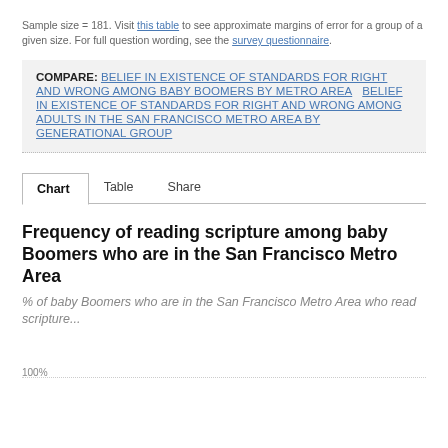Sample size = 181. Visit this table to see approximate margins of error for a group of a given size. For full question wording, see the survey questionnaire.
COMPARE: BELIEF IN EXISTENCE OF STANDARDS FOR RIGHT AND WRONG AMONG BABY BOOMERS BY METRO AREA   BELIEF IN EXISTENCE OF STANDARDS FOR RIGHT AND WRONG AMONG ADULTS IN THE SAN FRANCISCO METRO AREA BY GENERATIONAL GROUP
Chart   Table   Share
Frequency of reading scripture among baby Boomers who are in the San Francisco Metro Area
% of baby Boomers who are in the San Francisco Metro Area who read scripture...
100%